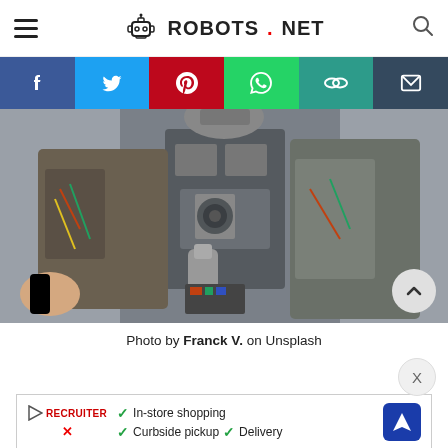ROBOTS.NET
[Figure (photo): Close-up photo of a humanoid robot torso and arms showing internal mechanical components, wiring, servo motors and actuators]
Photo by Franck V. on Unsplash
[Figure (infographic): Advertisement banner with checkmarks listing: In-store shopping, Curbside pickup, Delivery]